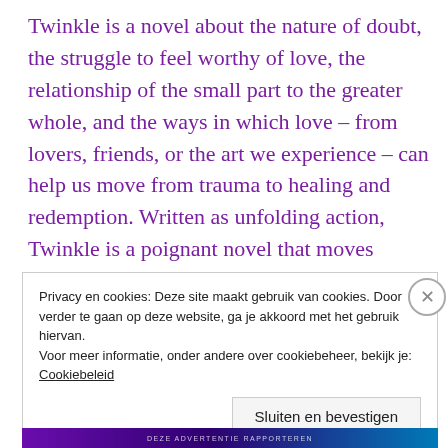Twinkle is a novel about the nature of doubt, the struggle to feel worthy of love, the relationship of the small part to the greater whole, and the ways in which love – from lovers, friends, or the art we experience – can help us move from trauma to healing and redemption. Written as unfolding action, Twinkle is a poignant novel that moves fluidly between melancholy, humor, and joy.
Privacy en cookies: Deze site maakt gebruik van cookies. Door verder te gaan op deze website, ga je akkoord met het gebruik hiervan. Voor meer informatie, onder andere over cookiebeheer, bekijk je: Cookiebeleid
Sluiten en bevestigen